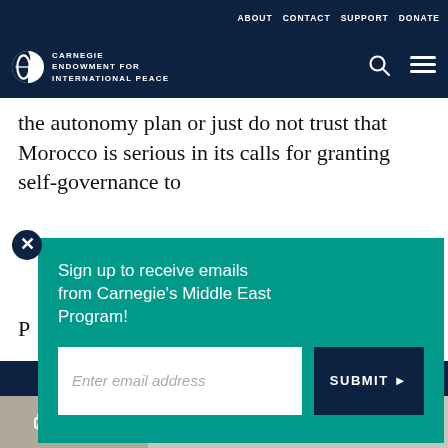ABOUT   CONTACT   SUPPORT   DONATE
[Figure (logo): Carnegie Endowment for International Peace logo — circular icon with C and globe, white text on dark navy background]
the autonomy plan or just do not trust that Morocco is serious in its calls for granting self-governance to
Sign up to receive emails from Carnegie's Middle East Program!
Enter email address
SUBMIT ▶
our cookie policy.
Share icons: print, link, facebook, twitter, whatsapp, messenger, linkedin